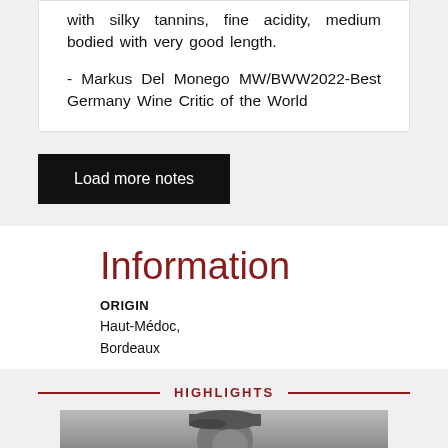with silky tannins, fine acidity, medium bodied with very good length.
- Markus Del Monego MW/BWW2022-Best Germany Wine Critic of the World
Load more notes
Information
ORIGIN
Haut-Médoc,
Bordeaux
HIGHLIGHTS
[Figure (photo): Black and white photo of a person wearing a cap, partially visible from the top of the frame]